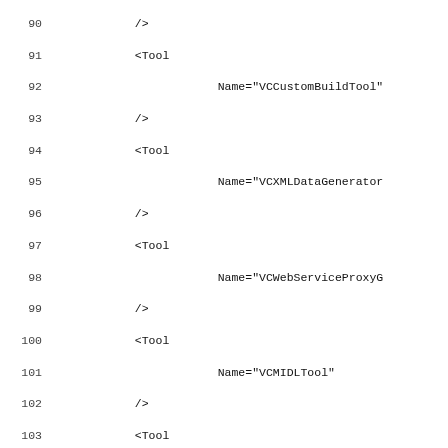Code listing showing XML tool configuration entries (lines 90-120), including VCCustomBuildTool, VCXMLDataGenerator, VCWebServiceProxyGenerator, VCMIDLTool, VCCLCompilerTool with various attributes (Optimization, EnableIntrinsicFunctions, PreprocessorDefinitions, RuntimeLibrary, EnableFunctionLevelLinking, UsePrecompiledHeader, WarningLevel, DebugInformationFormat), VCManagedResourceCompiler, VCResourceCompiler, and more Tool entries.